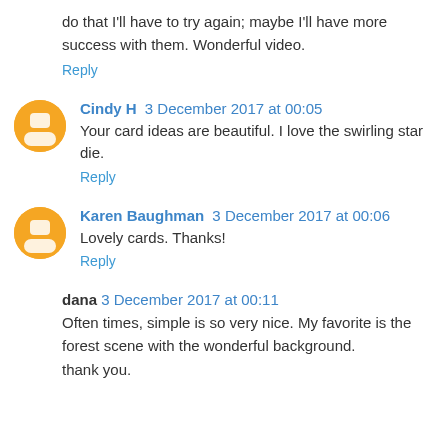do that I'll have to try again; maybe I'll have more success with them. Wonderful video.
Reply
Cindy H  3 December 2017 at 00:05
Your card ideas are beautiful. I love the swirling star die.
Reply
Karen Baughman  3 December 2017 at 00:06
Lovely cards. Thanks!
Reply
dana  3 December 2017 at 00:11
Often times, simple is so very nice. My favorite is the forest scene with the wonderful background.
thank you.